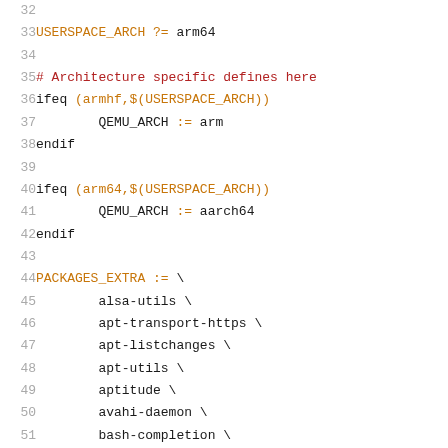[Figure (screenshot): Code listing lines 32–52 of a Makefile showing USERSPACE_ARCH assignment, architecture-specific ifeq blocks for armhf and arm64 setting QEMU_ARCH, and PACKAGES_EXTRA list beginning with alsa-utils through build-essential.]